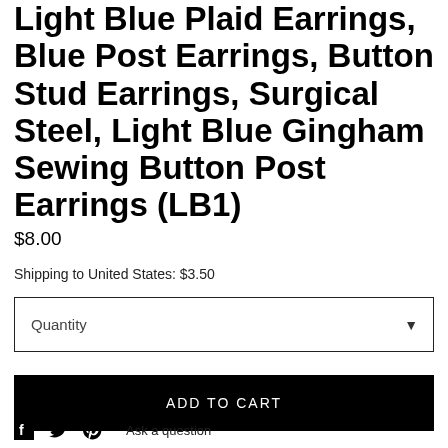Light Blue Plaid Earrings, Blue Post Earrings, Button Stud Earrings, Surgical Steel, Light Blue Gingham Sewing Button Post Earrings (LB1)
$8.00
Shipping to United States: $3.50
Quantity
ADD TO CART
Ask a question